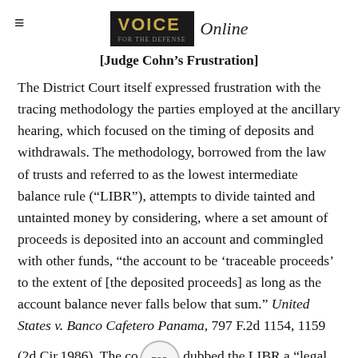VOICE Online
[Judge Cohn’s Frustration]
The District Court itself expressed frustration with the tracing methodology the parties employed at the ancillary hearing, which focused on the timing of deposits and withdrawals. The methodology, borrowed from the law of trusts and referred to as the lowest intermediate balance rule (“LIBR”), attempts to divide tainted and untainted money by considering, where a set amount of proceeds is deposited into an account and commingled with other funds, “the account to be ‘traceable proceeds’ to the extent of [the deposited proceeds] as long as the account balance never falls below that sum.” United States v. Banco Cafetero Panama, 797 F.2d 1154, 1159 (2d Cir.1986). The co dubbed the LIBR a “legal fiction,” Record, vol. 13, no.